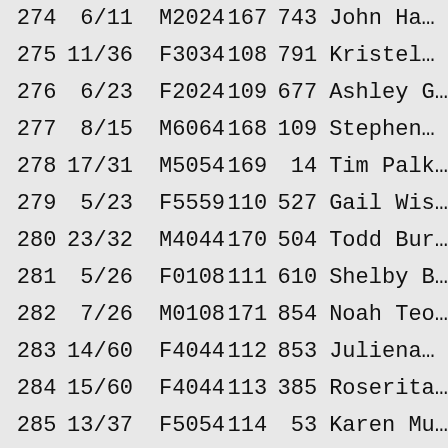| 274 | 6/11 | M2024 | 167 | 743 | John Ha |
| 275 | 11/36 | F3034 | 108 | 791 | Kristel |
| 276 | 6/23 | F2024 | 109 | 677 | Ashley G |
| 277 | 8/15 | M6064 | 168 | 109 | Stephen |
| 278 | 17/31 | M5054 | 169 | 14 | Tim Palk |
| 279 | 5/23 | F5559 | 110 | 527 | Gail Wis |
| 280 | 23/32 | M4044 | 170 | 504 | Todd Bur |
| 281 | 5/26 | F0108 | 111 | 610 | Shelby B |
| 282 | 7/26 | M0108 | 171 | 854 | Noah Teo |
| 283 | 14/60 | F4044 | 112 | 853 | Juliena |
| 284 | 15/60 | F4044 | 113 | 385 | Roserita |
| 285 | 13/37 | F5054 | 114 | 53 | Karen Mu |
| 286 | 13/54 | F4549 | 115 | 24 | Andrea L |
| 287 | 7/20 | M4549 | 172 | 229 | Paul Mil |
| 288 | 6/23 | F5559 | 116 | 171 | Lynn Gou |
| 289 | 6/23 | M0108 | 179 | 789 | --- |